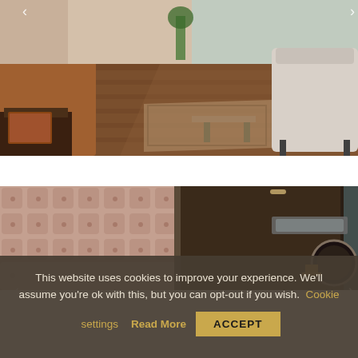[Figure (photo): Hotel room interior photo showing hardwood floors, a bed with brown/orange headboard on the left, a sitting area with white/grey chairs and a patterned rug on the right, with wood-paneled walls.]
[Figure (photo): Hotel room interior photo showing a tufted fabric headboard wall panel on the left, and on the right a lamp with gold base, mirrored closet doors, and what appears to be a circular dressing area.]
This website uses cookies to improve your experience. We'll assume you're ok with this, but you can opt-out if you wish. Cookie settings Read More ACCEPT